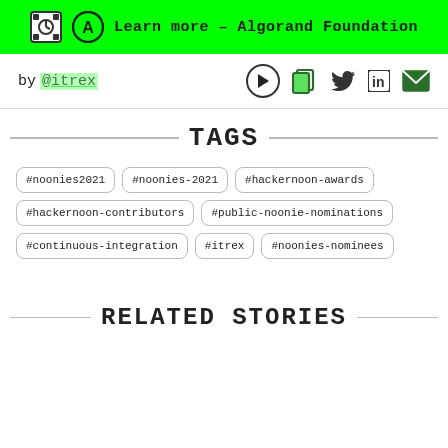Learn more – Algorand Foundation
by @itrex
TAGS
#noonies2021
#noonies-2021
#hackernoon-awards
#hackernoon-contributors
#public-noonie-nominations
#continuous-integration
#itrex
#noonies-nominees
RELATED STORIES